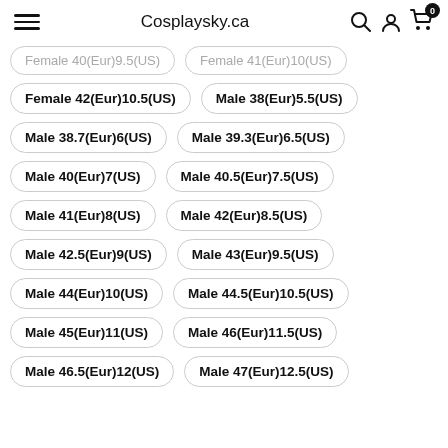Cosplaysky.ca
Female 40(Eur)9.5(US)
Female 41(Eur)10(US)
Female 42(Eur)10.5(US)
Male 38(Eur)5.5(US)
Male 38.7(Eur)6(US)
Male 39.3(Eur)6.5(US)
Male 40(Eur)7(US)
Male 40.5(Eur)7.5(US)
Male 41(Eur)8(US)
Male 42(Eur)8.5(US)
Male 42.5(Eur)9(US)
Male 43(Eur)9.5(US)
Male 44(Eur)10(US)
Male 44.5(Eur)10.5(US)
Male 45(Eur)11(US)
Male 46(Eur)11.5(US)
Male 46.5(Eur)12(US)
Male 47(Eur)12.5(US)